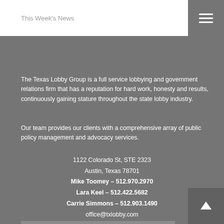This Week's News
The Texas Lobby Group is a full service lobbying and government relations firm that has a reputation for hard work, honesty and results, continuously gaining stature throughout the state lobby industry.
Our team provides our clients with a comprehensive array of public policy management and advocacy services.
1122 Colorado St, STE 2323
Austin, Texas 78701
Mike Toomey – 512.970.2970
Lara Keel – 512.422.5682
Carrie Simmons – 512.903.1490
office@txlobby.com